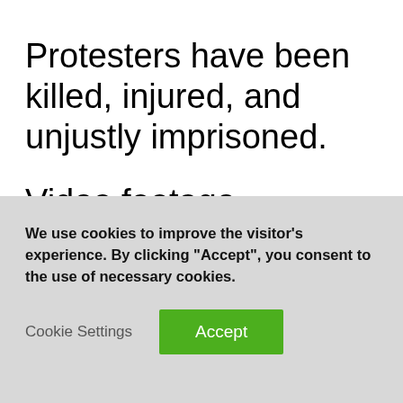Protesters have been killed, injured, and unjustly imprisoned.
Video footage demonstrates that police and violent mobs routinely assaulted peaceful protesters, [clipped]
We use cookies to improve the visitor’s experience. By clicking “Accept”, you consent to the use of necessary cookies.
Cookie Settings
Accept